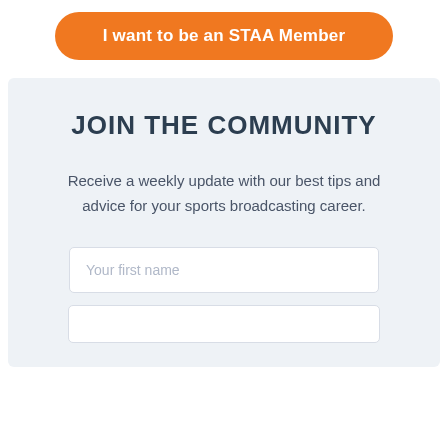[Figure (other): Orange rounded button with white bold text: I want to be an STAA Member]
JOIN THE COMMUNITY
Receive a weekly update with our best tips and advice for your sports broadcasting career.
Your first name (form input field)